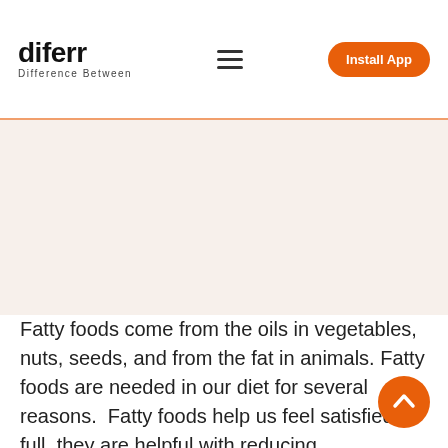diferr — Difference Between | Install App
[Figure (other): Advertisement / blank content area placeholder with beige background]
Fatty foods come from the oils in vegetables, nuts, seeds, and from the fat in animals. Fatty foods are needed in our diet for several reasons.  Fatty foods help us feel satisfied or full, they are helpful with reducing inflammation and there are several studies out that have shown eating a good ratio of